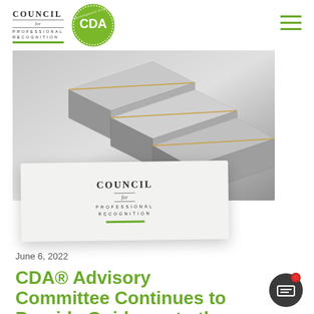Council for Professional Recognition — CDA logo — navigation
[Figure (photo): Hero image showing 3D abstract steps/blocks in grey tones with gold accents, with a white card overlay displaying Council for Professional Recognition logo text]
June 6, 2022
CDA® Advisory Committee Continues to Provide Guidance to the